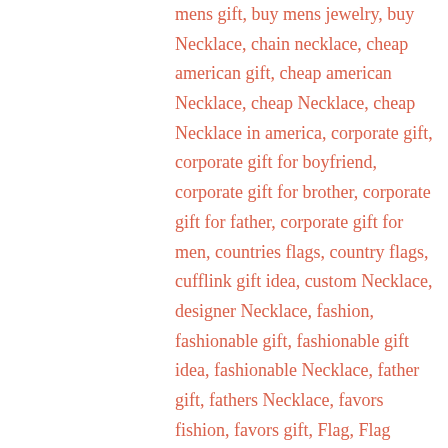mens gift, buy mens jewelry, buy Necklace, chain necklace, cheap american gift, cheap american Necklace, cheap Necklace, cheap Necklace in america, corporate gift, corporate gift for boyfriend, corporate gift for brother, corporate gift for father, corporate gift for men, countries flags, country flags, cufflink gift idea, custom Necklace, designer Necklace, fashion, fashionable gift, fashionable gift idea, fashionable Necklace, father gift, fathers Necklace, favors fishion, favors gift, Flag, Flag Necklace, Flag Pendant, Flag Pendant Necklace, for lover, for your lover, friend wedding gift, gift for american, gift for best friend, gift for boyfriend, gift for friend, gift for mens, gift idea, gift idea for men, gold necklace, grooms fashion, grooms Necklace, handmade, handmade gift, handmade gift for boy friend, handmade gift for